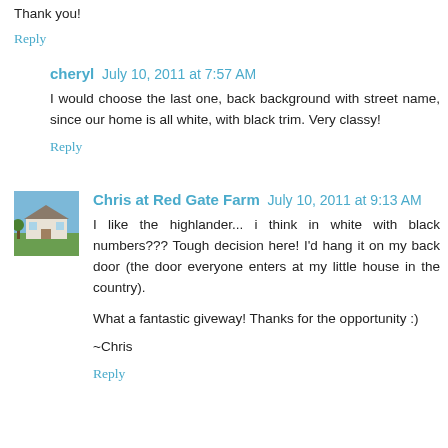Thank you!
Reply
cheryl  July 10, 2011 at 7:57 AM
I would choose the last one, back background with street name, since our home is all white, with black trim. Very classy!
Reply
Chris at Red Gate Farm  July 10, 2011 at 9:13 AM
I like the highlander... i think in white with black numbers??? Tough decision here! I'd hang it on my back door (the door everyone enters at my little house in the country).
What a fantastic giveway! Thanks for the opportunity :)
~Chris
Reply